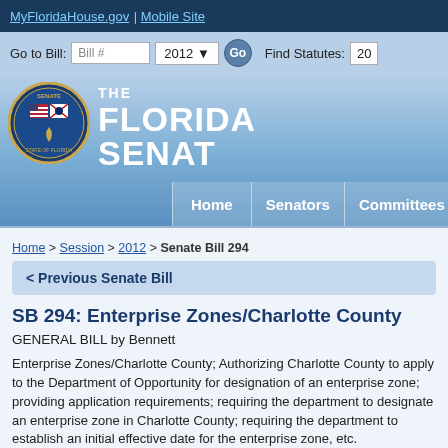MyFloridaHouse.gov | Mobile Site
[Figure (screenshot): Florida Senate website navigation bar with Bill # input, 2012 dropdown, Go button, and Find Statutes field]
[Figure (logo): Florida Senate seal and header with THE FLORIDA SENATE text and navigation tabs for Home, Senators, Committees]
Home > Session > 2012 > Senate Bill 294
< Previous Senate Bill
SB 294: Enterprise Zones/Charlotte County
GENERAL BILL by Bennett
Enterprise Zones/Charlotte County; Authorizing Charlotte County to apply to the Department of Opportunity for designation of an enterprise zone; providing application requirements; requiring the department to designate an enterprise zone in Charlotte County; requiring the department to establish an initial effective date for the enterprise zone, etc.
Effective Date: 7/1/2012
Last Action: 3/9/2012 Senate - Died in Budget, companion bill(s) passed